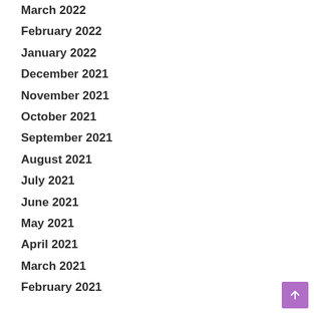March 2022
February 2022
January 2022
December 2021
November 2021
October 2021
September 2021
August 2021
July 2021
June 2021
May 2021
April 2021
March 2021
February 2021